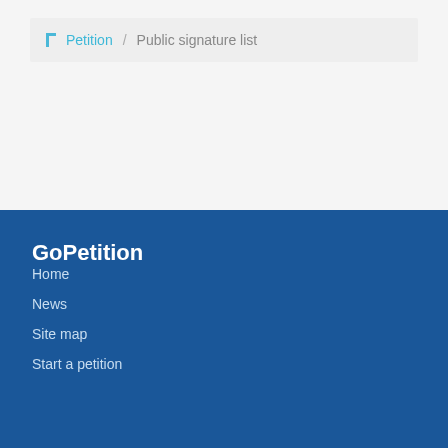Petition / Public signature list
GoPetition
Home
News
Site map
Start a petition